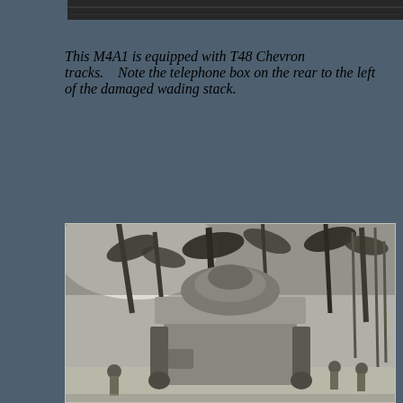[Figure (photo): Partial top edge of a black and white historical photograph showing what appears to be military equipment or landscape.]
This M4A1 is equipped with T48 Chevron tracks.    Note the telephone box on the rear to the left of the damaged wading stack.
[Figure (photo): Black and white photograph of a military tank (M4A1 Sherman) viewed from the rear, surrounded by palm trees and soldiers in a tropical setting.]